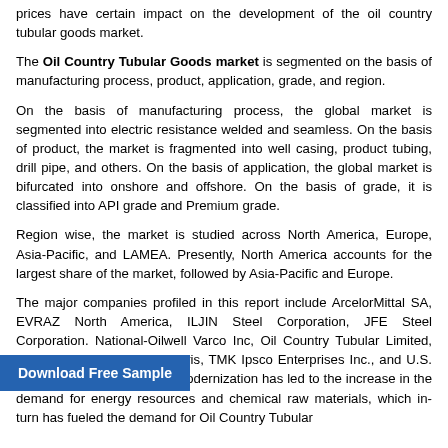prices have certain impact on the development of the oil country tubular goods market.
The Oil Country Tubular Goods market is segmented on the basis of manufacturing process, product, application, grade, and region.
On the basis of manufacturing process, the global market is segmented into electric resistance welded and seamless. On the basis of product, the market is fragmented into well casing, product tubing, drill pipe, and others. On the basis of application, the global market is bifurcated into onshore and offshore. On the basis of grade, it is classified into API grade and Premium grade.
Region wise, the market is studied across North America, Europe, Asia-Pacific, and LAMEA. Presently, North America accounts for the largest share of the market, followed by Asia-Pacific and Europe.
The major companies profiled in this report include ArcelorMittal SA, EVRAZ North America, ILJIN Steel Corporation, JFE Steel Corporation. National-Oilwell Varco Inc, Oil Country Tubular Limited, Sumitomo Corporation, Tenaris, TMK Ipsco Enterprises Inc., and U.S. Steel trialization, modernization has led to the increase in the demand for energy resources and chemical raw materials, which in-turn has fueled the demand for Oil Country Tubular